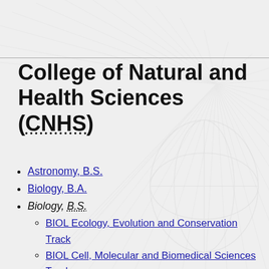College of Natural and Health Sciences (CNHS)
Astronomy, B.S.
Biology, B.A.
Biology, B.S.
BIOL Ecology, Evolution and Conservation Track
BIOL Cell, Molecular and Biomedical Sciences Track
Chemistry, B.S.